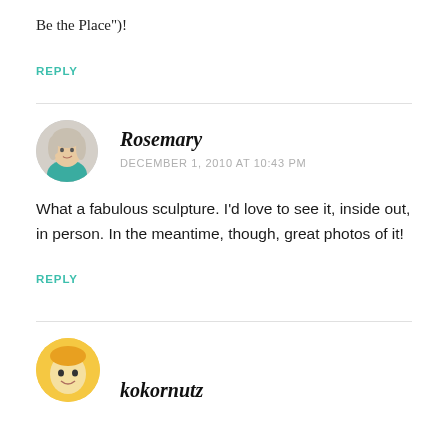Be the Place”)!
REPLY
[Figure (photo): Circular avatar photo of Rosemary, a woman with wavy gray-blonde hair, hand near chin, wearing a teal top]
Rosemary
DECEMBER 1, 2010 AT 10:43 PM
What a fabulous sculpture. I’d love to see it, inside out, in person. In the meantime, though, great photos of it!
REPLY
[Figure (photo): Circular avatar of kokornutz, partially visible at bottom of page, yellow/illustrated avatar]
kokornutz